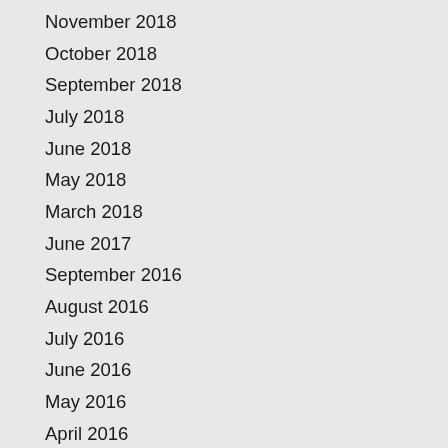November 2018
October 2018
September 2018
July 2018
June 2018
May 2018
March 2018
June 2017
September 2016
August 2016
July 2016
June 2016
May 2016
April 2016
February 2016
January 2016
November 2015
October 2015
September 2015